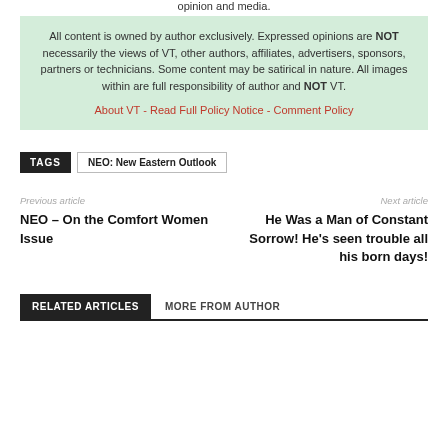opinion and media.
All content is owned by author exclusively. Expressed opinions are NOT necessarily the views of VT, other authors, affiliates, advertisers, sponsors, partners or technicians. Some content may be satirical in nature. All images within are full responsibility of author and NOT VT.
About VT - Read Full Policy Notice - Comment Policy
TAGS  NEO: New Eastern Outlook
Previous article
NEO – On the Comfort Women Issue
Next article
He Was a Man of Constant Sorrow! He's seen trouble all his born days!
RELATED ARTICLES  MORE FROM AUTHOR